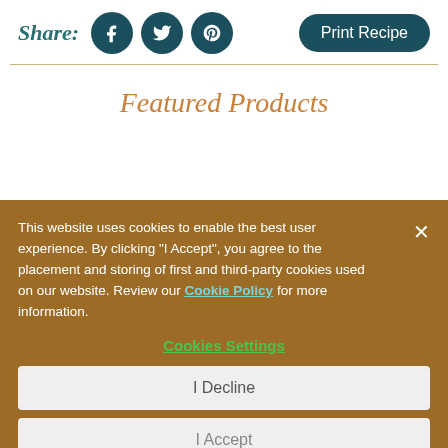Share:
[Figure (infographic): Share row with Facebook, Twitter, Pinterest social icons (dark teal circles) and Print Recipe button (dark teal rounded rectangle)]
Featured Products
This website uses cookies to enable the best user experience. By clicking "I Accept", you agree to the placement and storing of first and third-party cookies used on our website. Review our Cookie Policy for more information.
Cookies Settings
I Decline
I Accept